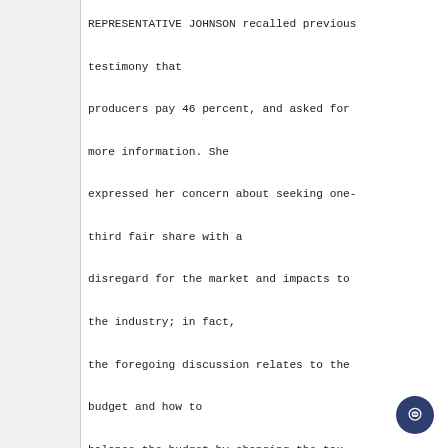REPRESENTATIVE JOHNSON recalled previous testimony that producers pay 46 percent, and asked for more information. She expressed her concern about seeking one-third fair share with a disregard for the market and impacts to the industry; in fact, the foregoing discussion relates to the budget and how to balance the budget by changing the tax structure. She characterized the discussion as mixing up the budget deficit and sound policies, and questioned whether there is any "good news" ahead for Alaska.